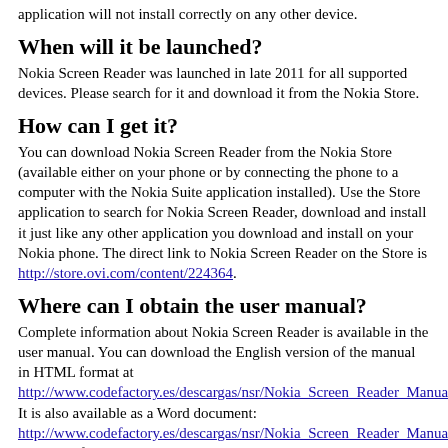application will not install correctly on any other device.
When will it be launched?
Nokia Screen Reader was launched in late 2011 for all supported devices. Please search for it and download it from the Nokia Store.
How can I get it?
You can download Nokia Screen Reader from the Nokia Store (available either on your phone or by connecting the phone to a computer with the Nokia Suite application installed). Use the Store application to search for Nokia Screen Reader, download and install it just like any other application you download and install on your Nokia phone. The direct link to Nokia Screen Reader on the Store is http://store.ovi.com/content/224364.
Where can I obtain the user manual?
Complete information about Nokia Screen Reader is available in the user manual. You can download the English version of the manual in HTML format at http://www.codefactory.es/descargas/nsr/Nokia_Screen_Reader_Manual_E It is also available as a Word document: http://www.codefactory.es/descargas/nsr/Nokia_Screen_Reader_Manual_E or in Text format: http://www.codefactory.es/descargas/nsr/Nokia_Screen_Reader_Manual_E Users are also encouraged to read the Mobile Speak User Manual, since most of the information in it is also relevant for Nokia Screen Reader. It